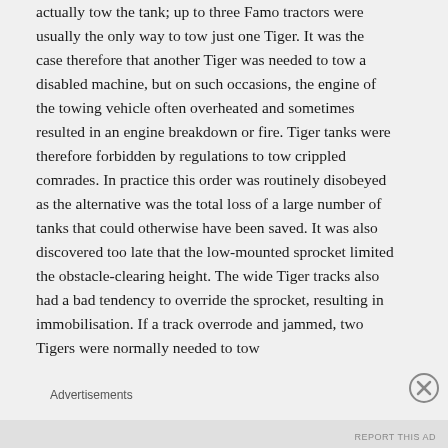actually tow the tank; up to three Famo tractors were usually the only way to tow just one Tiger. It was the case therefore that another Tiger was needed to tow a disabled machine, but on such occasions, the engine of the towing vehicle often overheated and sometimes resulted in an engine breakdown or fire. Tiger tanks were therefore forbidden by regulations to tow crippled comrades. In practice this order was routinely disobeyed as the alternative was the total loss of a large number of tanks that could otherwise have been saved. It was also discovered too late that the low-mounted sprocket limited the obstacle-clearing height. The wide Tiger tracks also had a bad tendency to override the sprocket, resulting in immobilisation. If a track overrode and jammed, two Tigers were normally needed to tow
Advertisements